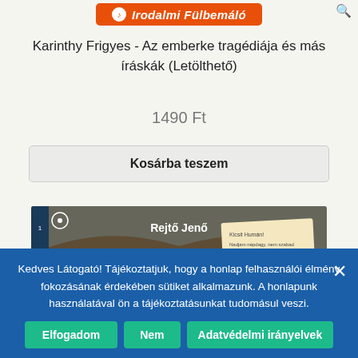[Figure (logo): Irodalmi Fülbemáló orange banner logo with circular icon]
Karinthy Frigyes - Az emberke tragédiája és más íráskák (Letölthető)
1490 Ft
Kosárba teszem
[Figure (photo): Book cover for 'Az ellopott futár' by Rejtő Jenő, showing illustrated cover with teal/brown tones and red stylized title text]
Kedves Látogató! Tájékoztatjuk, hogy a honlap felhasználói élmény fokozásának érdekében sütiket alkalmazunk. A honlapunk használatával ön a tájékoztatásunkat tudomásul veszi.
Elfogadom
Nem
Adatvédelmi irányelvek